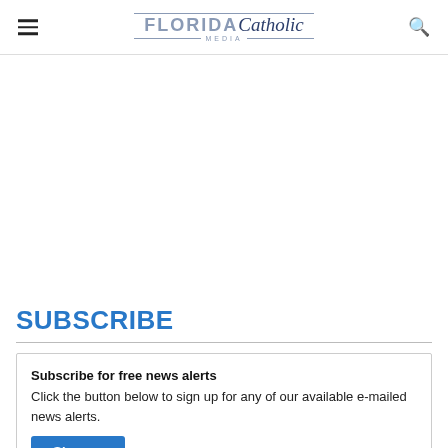FLORIDA Catholic MEDIA
SUBSCRIBE
Subscribe for free news alerts
Click the button below to sign up for any of our available e-mailed news alerts.
Sign up